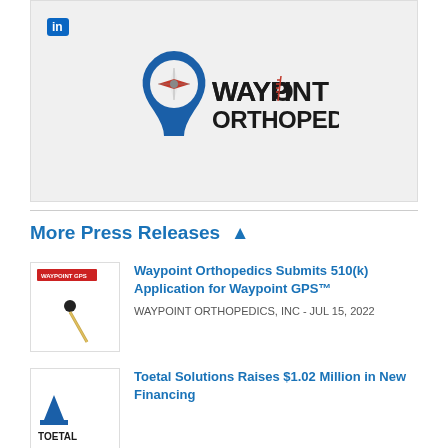[Figure (logo): LinkedIn 'in' icon button in top left of logo banner]
[Figure (logo): Waypoint Orthopedics logo: compass/pin icon on left, text WAYPOINT ORTHOPEDICS on right with spine imagery in the O]
More Press Releases ▲
[Figure (photo): Thumbnail image of Waypoint GPS product — a surgical pin/nail with red GPS label]
Waypoint Orthopedics Submits 510(k) Application for Waypoint GPS™
WAYPOINT ORTHOPEDICS, INC - JUL 15, 2022
[Figure (logo): Thumbnail showing TOETAL logo with blue bird/arrow icon]
Toetal Solutions Raises $1.02 Million in New Financing